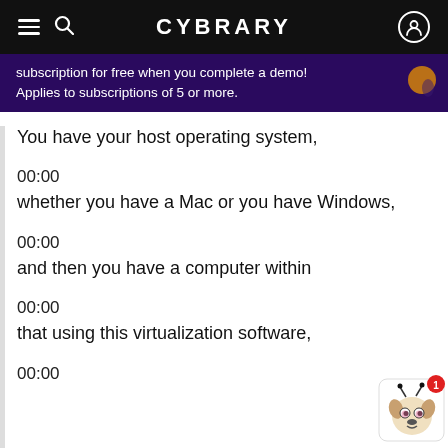CYBRARY
subscription for free when you complete a demo! Applies to subscriptions of 5 or more.
You have your host operating system,
00:00
whether you have a Mac or you have Windows,
00:00
and then you have a computer within
00:00
that using this virtualization software,
00:00